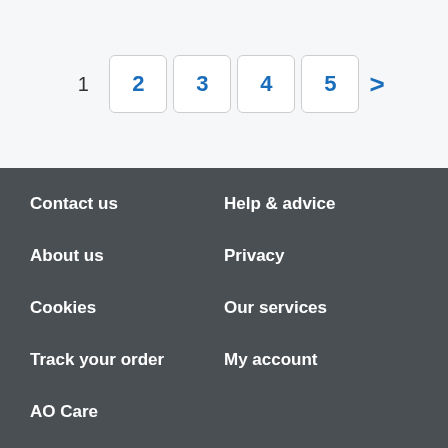[Figure (screenshot): Pagination control showing page numbers 1 (plain), 2, 3, 4, 5 (in bordered boxes), and a next arrow (>), all in blue on a light gray background]
Contact us
Help & advice
About us
Privacy
Cookies
Our services
Track your order
My account
AO Care